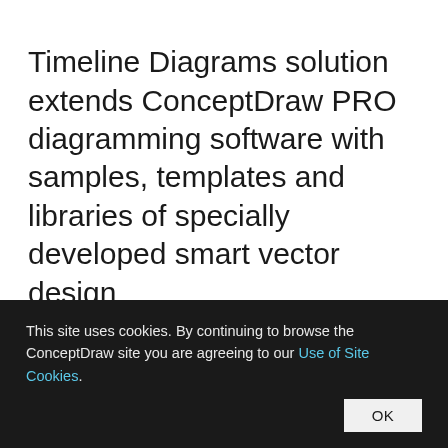Timeline Diagrams solution extends ConceptDraw PRO diagramming software with samples, templates and libraries of specially developed smart vector design
This site uses cookies. By continuing to browse the ConceptDraw site you are agreeing to our Use of Site Cookies. OK